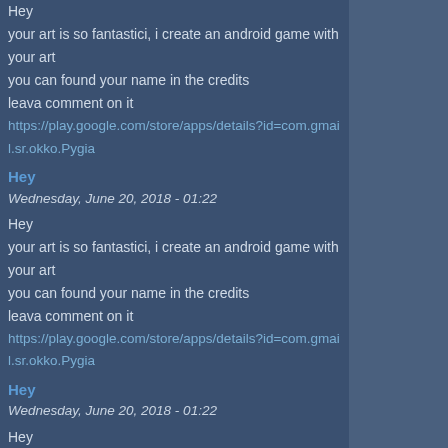Hey
your art is so fantastici, i create an android game with your art
you can found your name in the credits
leava comment on it
https://play.google.com/store/apps/details?id=com.gmail.sr.okko.Pygia
Hey
Wednesday, June 20, 2018 - 01:22
Hey
your art is so fantastici, i create an android game with your art
you can found your name in the credits
leava comment on it
https://play.google.com/store/apps/details?id=com.gmail.sr.okko.Pygia
Hey
Wednesday, June 20, 2018 - 01:22
Hey
your art is so fantastici, i create an android game with your art
you can found your name in the credits